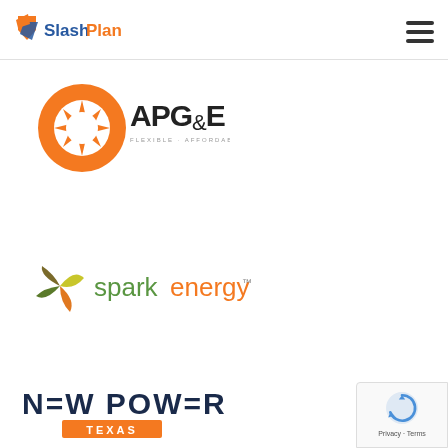SlashPlan
[Figure (logo): APG&E logo — orange sunburst circle with APG&E text, tagline FLEXIBLE · AFFORDABLE · ENERGY]
[Figure (logo): Spark Energy logo — stylized green/yellow leaf icon with 'spark energy' text in green and orange]
[Figure (logo): New Power Texas logo — bold dark blue text 'N=W POW=R' with orange rectangle bar reading 'TEXAS']